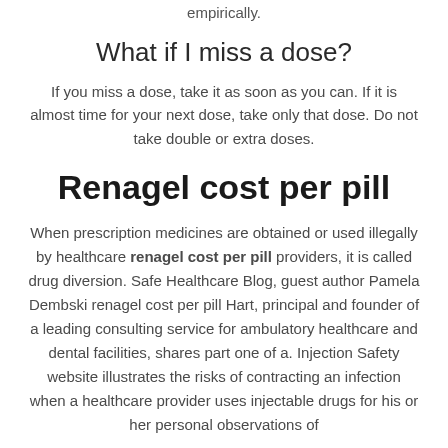empirically.
What if I miss a dose?
If you miss a dose, take it as soon as you can. If it is almost time for your next dose, take only that dose. Do not take double or extra doses.
Renagel cost per pill
When prescription medicines are obtained or used illegally by healthcare renagel cost per pill providers, it is called drug diversion. Safe Healthcare Blog, guest author Pamela Dembski renagel cost per pill Hart, principal and founder of a leading consulting service for ambulatory healthcare and dental facilities, shares part one of a. Injection Safety website illustrates the risks of contracting an infection when a healthcare provider uses injectable drugs for his or her personal observations of